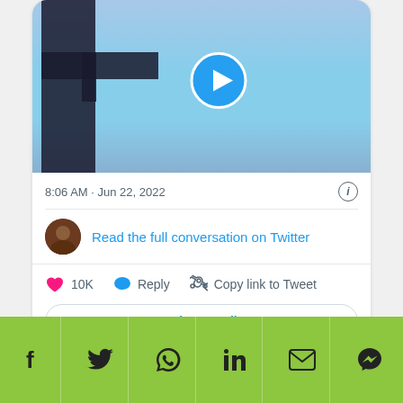[Figure (screenshot): Twitter/X embedded tweet screenshot showing a video thumbnail of a pole against blue sky with a play button, timestamp 8:06 AM Jun 22 2022, link to read full conversation, 10K likes, Reply, Copy link to Tweet actions, Read 318 replies button, and social sharing bar at bottom with Facebook, Twitter, WhatsApp, LinkedIn, Email, and Messenger icons on a green background.]